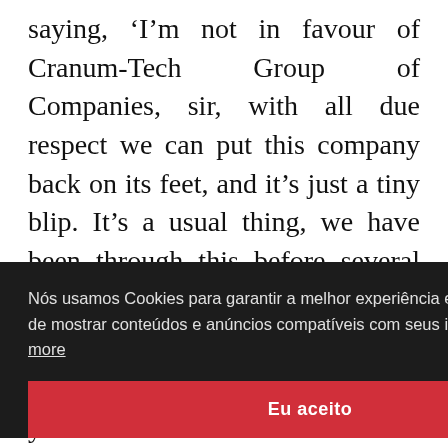saying, ‘I’m not in favour of Cranum-Tech Group of Companies, sir, with all due respect we can put this company back on its feet, and it’s just a tiny blip. It’s a usual thing, we have been through this before several times and got back even stronger, and my vote stands against CTGC. Besides, we all know what
Nós usamos Cookies para garantir a melhor experiência em nosso site, além de mostrar conteúdos e anúncios compatíveis com seus interesses.  Learn more
e then of the ng in s not
Eu aceito
wise decision, Michael, men like you have